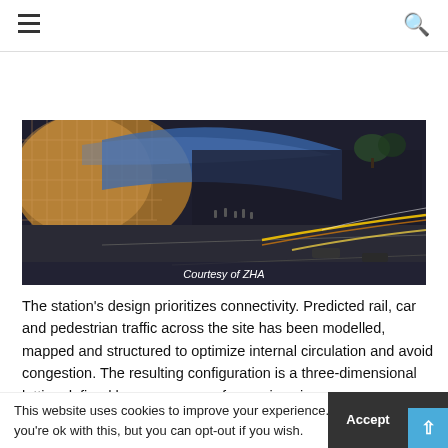☰  [search icon]
Subscribe
[Figure (photo): Aerial architectural rendering of a transit station showing a curved roof structure with lattice patterns, pedestrian areas, and road with cars and light trails. Caption: Courtesy of ZHA]
Courtesy of ZHA
The station's design prioritizes connectivity. Predicted rail, car and pedestrian traffic across the site has been modelled, mapped and structured to optimize internal circulation and avoid congestion. The resulting configuration is a three-dimensional lattice defined by a sequence of opposing sine-
This website uses cookies to improve your experience. We'll assume you're ok with this, but you can opt-out if you wish.